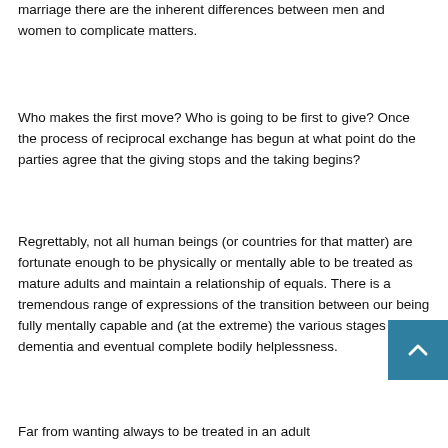marriage there are the inherent differences between men and women to complicate matters.
Who makes the first move? Who is going to be first to give? Once the process of reciprocal exchange has begun at what point do the parties agree that the giving stops and the taking begins?
Regrettably, not all human beings (or countries for that matter) are fortunate enough to be physically or mentally able to be treated as mature adults and maintain a relationship of equals. There is a tremendous range of expressions of the transition between our being fully mentally capable and (at the extreme) the various stages of dementia and eventual complete bodily helplessness.
Far from wanting always to be treated in an adult